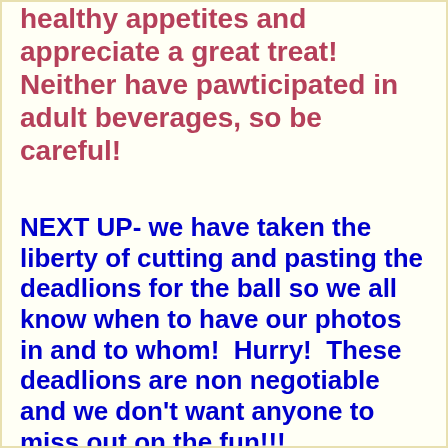healthy appetites and appreciate a great treat!  Neither have pawticipated in adult beverages, so be careful!
NEXT UP- we have taken the liberty of cutting and pasting the deadlions for the ball so we all know when to have our photos in and to whom!  Hurry!  These deadlions are non negotiable and we don't want anyone to miss out on the fun!!!